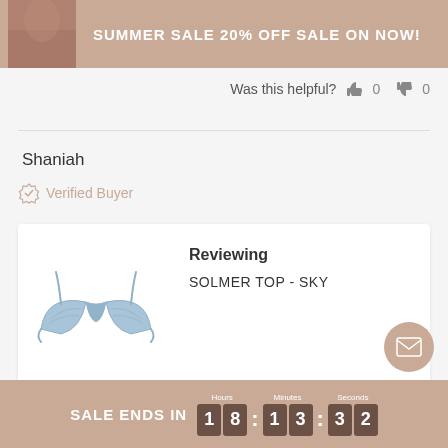SUMMER SALE 20% OFF SALE ON NOW!
Was this helpful? 👍 0 👎 0
Shaniah
Verified Buyer
Reviewing
SOLMER TOP - SKY
👍 I recommend this product
Age Range
SALE ENDS IN 18:13:32